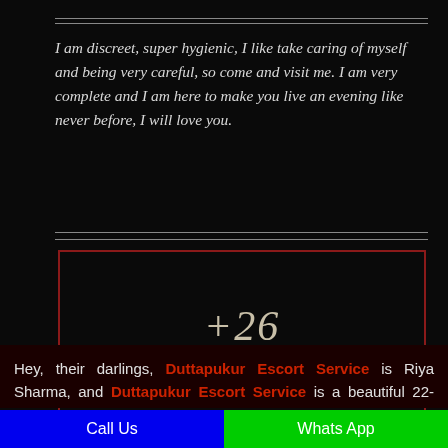I am discreet, super hygienic, I like take caring of myself and being very careful, so come and visit me. I am very complete and I am here to make you live an evening like never before, I will love you.
[Figure (infographic): Dark box with red border showing '+26 INTERNATIONAL AWARDS' text centered inside]
Hey, their darlings, Duttapukur Escort Service is Riya Sharma, and Duttapukur Escort Service is a beautiful 22-year-old independent call girl. Duttapukur Escort Service provides
Call Us | Whats App